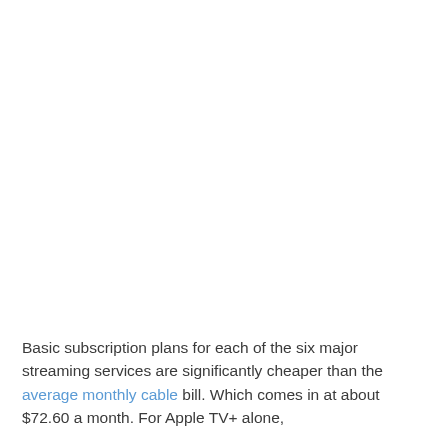Basic subscription plans for each of the six major streaming services are significantly cheaper than the average monthly cable bill. Which comes in at about $72.60 a month. For Apple TV+ alone,